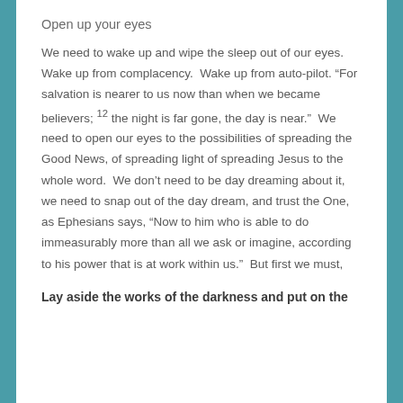Open up your eyes
We need to wake up and wipe the sleep out of our eyes. Wake up from complacency.  Wake up from auto-pilot. “For salvation is nearer to us now than when we became believers; 12 the night is far gone, the day is near.”  We need to open our eyes to the possibilities of spreading the Good News, of spreading light of spreading Jesus to the whole word.  We don’t need to be day dreaming about it, we need to snap out of the day dream, and trust the One, as Ephesians says, “Now to him who is able to do immeasurably more than all we ask or imagine, according to his power that is at work within us.”  But first we must,
Lay aside the works of the darkness and put on the armor of light.